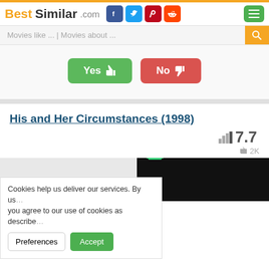BestSimilar.com
Movies like ... | Movies about ...
Yes  No
His and Her Circumstances (1998)
7.7
2K
Cookies help us deliver our services. By using our services, you agree to our use of cookies as described in our Cookie Policy.
Preferences  Accept